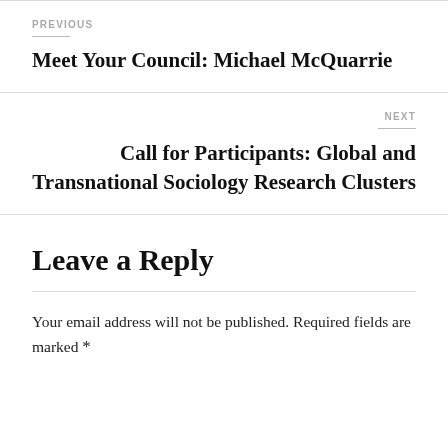PREVIOUS
Meet Your Council: Michael McQuarrie
NEXT
Call for Participants: Global and Transnational Sociology Research Clusters
Leave a Reply
Your email address will not be published. Required fields are marked *